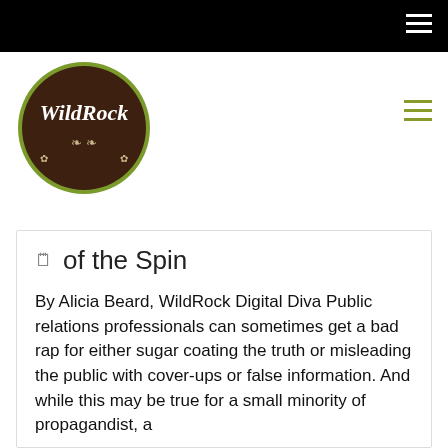[Figure (logo): WildRock circular logo with dark brown/chocolate background, white text 'WildRock' with decorative flourishes]
of the Spin
By Alicia Beard, WildRock Digital Diva Public relations professionals can sometimes get a bad rap for either sugar coating the truth or misleading the public with cover-ups or false information. And while this may be true for a small minority of propagandist, a